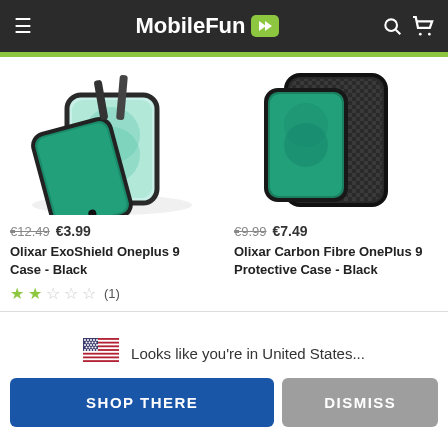MobileFun
[Figure (photo): Two phone cases for OnePlus 9 shown from above - left is a clear/dark bumper ExoShield case showing phone back, right is a black carbon fibre protective case]
€12.49  €3.99
Olixar ExoShield Oneplus 9 Case - Black
€9.99  €7.49
Olixar Carbon Fibre OnePlus 9 Protective Case - Black
★★☆☆☆ (1)
🇺🇸  Looks like you're in United States...
SHOP THERE
DISMISS